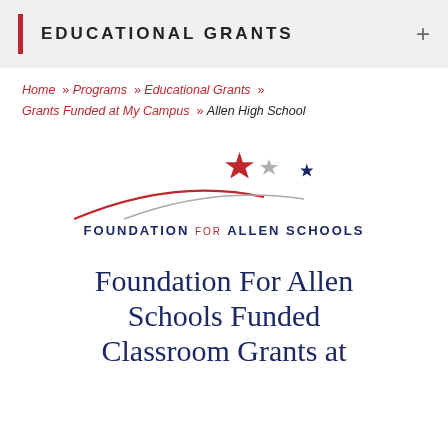EDUCATIONAL GRANTS
Home » Programs » Educational Grants » Grants Funded at My Campus » Allen High School
[Figure (logo): Foundation for Allen Schools logo with swoosh lines and three stars (red, grey, navy) above the text FOUNDATION FOR ALLEN SCHOOLS]
Foundation For Allen Schools Funded Classroom Grants at